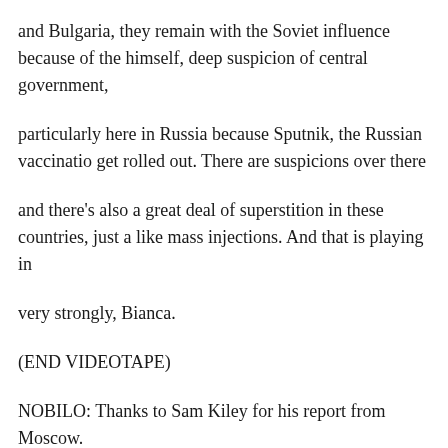and Bulgaria, they remain with the Soviet influence because of the himself, deep suspicion of central government,
particularly here in Russia because Sputnik, the Russian vaccination get rolled out. There are suspicions over there
and there's also a great deal of superstition in these countries, just a like mass injections. And that is playing in
very strongly, Bianca.
(END VIDEOTAPE)
NOBILO: Thanks to Sam Kiley for his report from Moscow.
Let's take a look at other key stories making international impact to